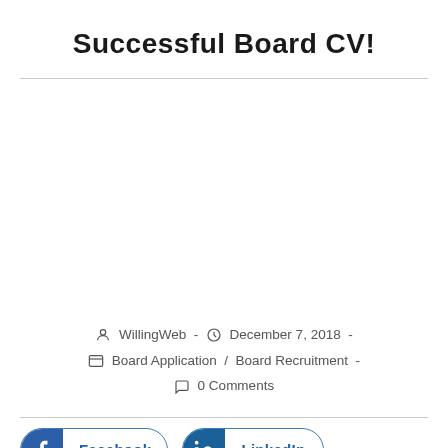Successful Board CV!
WillingWeb  -  December 7, 2018  -  Board Application / Board Recruitment  -  0 Comments
Facebook  LinkedIn